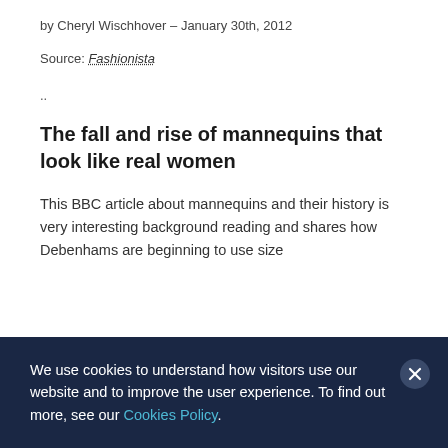by Cheryl Wischhover – January 30th, 2012
Source: Fashionista
..
The fall and rise of mannequins that look like real women
This BBC article about mannequins and their history is very interesting background reading and shares how Debenhams are beginning to use size
We use cookies to understand how visitors use our website and to improve the user experience. To find out more, see our Cookies Policy.